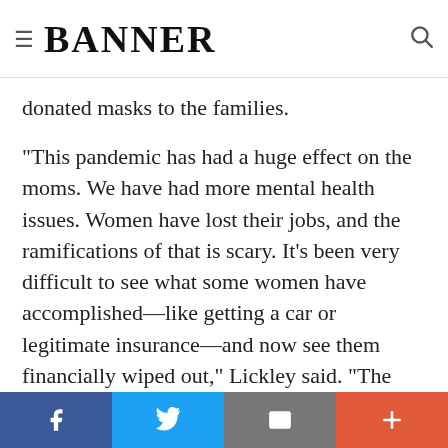BANNER
donated masks to the families.
“This pandemic has had a huge effect on the moms. We have had more mental health issues. Women have lost their jobs, and the ramifications of that is scary. It’s been very difficult to see what some women have accomplished—like getting a car or legitimate insurance—and now see them financially wiped out,” Lickley said. “The communities in Grand Rapids West and Byron Center have really stepped up to
Facebook | Twitter | Email | More